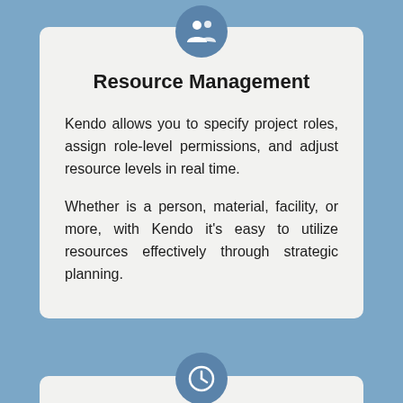[Figure (illustration): A blue circular icon with a white group/people icon (two silhouettes) centered at the top of the card.]
Resource Management
Kendo allows you to specify project roles, assign role-level permissions, and adjust resource levels in real time.
Whether is a person, material, facility, or more, with Kendo it's easy to utilize resources effectively through strategic planning.
[Figure (illustration): A blue circular icon with a white clock/time icon centered at the bottom of the page, partially overlapping a second card beginning at the very bottom.]